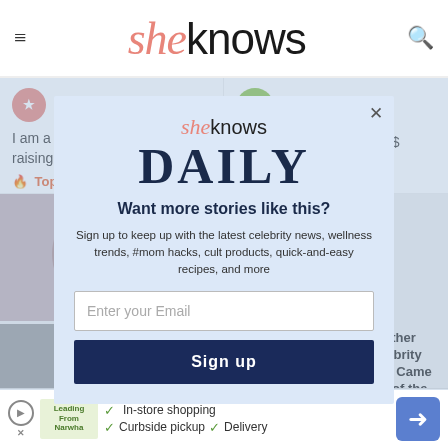sheknows
RedTurtle · 15 Jul
I am a 70 year old grandmother raising my 4
🔥 Top Comm
GreenWeight
The FBI agents coul s a$$ about nu
op Comment
[Figure (photo): Woman's face photo (upper left article thumbnail)]
n's ince th Away
[Figure (photo): Black and white photo of two people kissing (lower article thumbnail)]
Another Celebrity Just Came Out of the Closet??
[Figure (other): Modal popup: sheknows DAILY newsletter signup - 'Want more stories like this? Sign up to keep up with the latest celebrity news, wellness trends, #mom hacks, cult products, quick-and-easy recipes, and more' with email input and Sign up button]
Ad: In-store shopping · Curbside pickup · Delivery